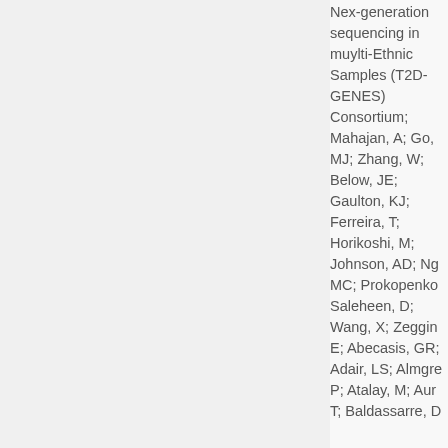Nex-generation sequencing in muylti-Ethnic Samples (T2D-GENES) Consortium; Mahajan, A; Go, MJ; Zhang, W; Below, JE; Gaulton, KJ; Ferreira, T; Horikoshi, M; Johnson, AD; Ng MC; Prokopenko Saleheen, D; Wang, X; Zeggin E; Abecasis, GR; Adair, LS; Almgre P; Atalay, M; Aur T; Baldassarre, D